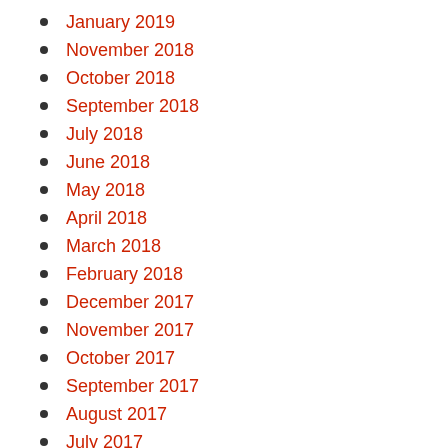January 2019
November 2018
October 2018
September 2018
July 2018
June 2018
May 2018
April 2018
March 2018
February 2018
December 2017
November 2017
October 2017
September 2017
August 2017
July 2017
June 2017